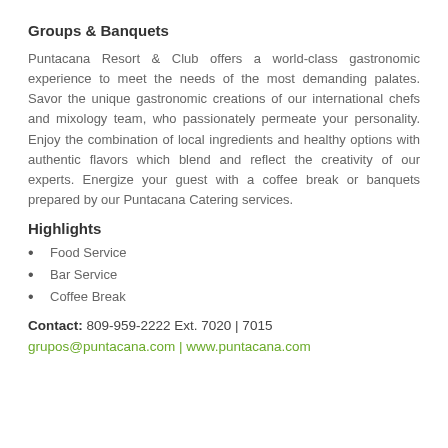Groups & Banquets
Puntacana Resort & Club offers a world-class gastronomic experience to meet the needs of the most demanding palates. Savor the unique gastronomic creations of our international chefs and mixology team, who passionately permeate your personality. Enjoy the combination of local ingredients and healthy options with authentic flavors which blend and reflect the creativity of our experts. Energize your guest with a coffee break or banquets prepared by our Puntacana Catering services.
Highlights
Food Service
Bar Service
Coffee Break
Contact: 809-959-2222 Ext. 7020 | 7015
grupos@puntacana.com | www.puntacana.com